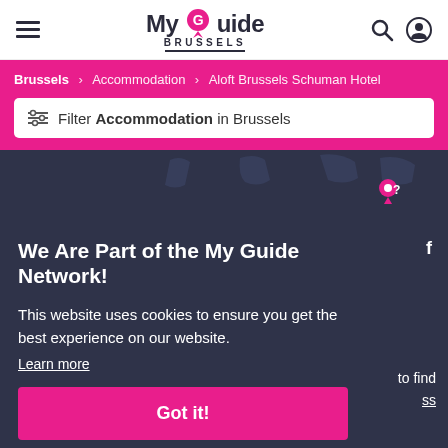My Guide Brussels
Brussels > Accommodation > Aloft Brussels Schuman Hotel
Filter Accommodation in Brussels
[Figure (map): Dark map background with location pins, partial view]
We Are Part of the My Guide Network!
This website uses cookies to ensure you get the best experience on our website.
Learn more
Got it!
Nearby Destinations